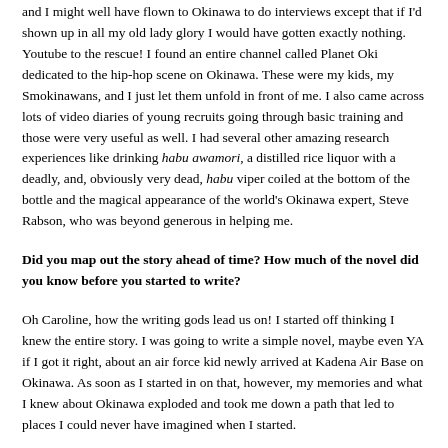and I might well have flown to Okinawa to do interviews except that if I'd shown up in all my old lady glory I would have gotten exactly nothing. Youtube to the rescue! I found an entire channel called Planet Oki dedicated to the hip-hop scene on Okinawa. These were my kids, my Smokinawans, and I just let them unfold in front of me. I also came across lots of video diaries of young recruits going through basic training and those were very useful as well. I had several other amazing research experiences like drinking habu awamori, a distilled rice liquor with a deadly, and, obviously very dead, habu viper coiled at the bottom of the bottle and the magical appearance of the world's Okinawa expert, Steve Rabson, who was beyond generous in helping me.
Did you map out the story ahead of time? How much of the novel did you know before you started to write?
Oh Caroline, how the writing gods lead us on! I started off thinking I knew the entire story. I was going to write a simple novel, maybe even YA if I got it right, about an air force kid newly arrived at Kadena Air Base on Okinawa. As soon as I started in on that, however, my memories and what I knew about Okinawa exploded and took me down a path that led to places I could never have imagined when I started.
Both your heroines, Luz and Tamiko contemplate suicide, but for very